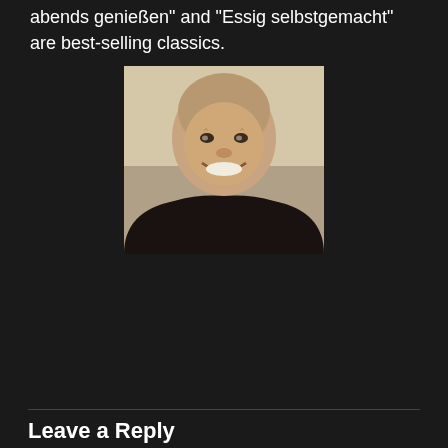abends genießen" and "Essig selbstgemacht" are best-selling classics.
[Figure (photo): Portrait photo of a bald smiling middle-aged man wearing a dark shirt, against a neutral background.]
Durch die weitere Nutzung der Seite stimmen Sie der Verwendung von Cookies zu. Weitere Informationen
Akzeptieren
Leave a Reply